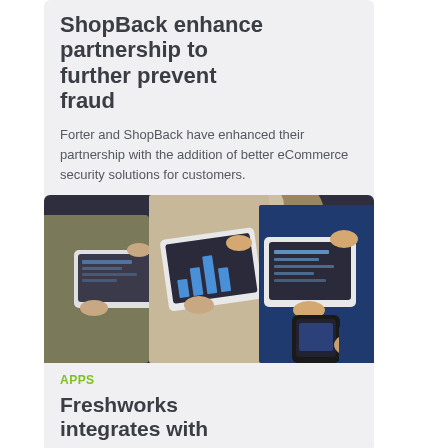ShopBack enhance partnership to further prevent fraud
Forter and ShopBack have enhanced their partnership with the addition of better eCommerce security solutions for customers.
[Figure (photo): Group of people holding tablets and a smartphone, looking at data on the screens, in a business setting.]
APPS
Freshworks integrates with